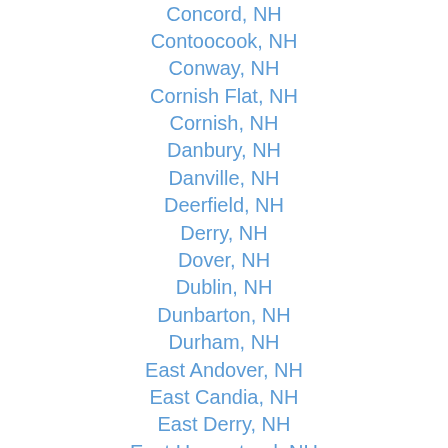Concord, NH
Contoocook, NH
Conway, NH
Cornish Flat, NH
Cornish, NH
Danbury, NH
Danville, NH
Deerfield, NH
Derry, NH
Dover, NH
Dublin, NH
Dunbarton, NH
Durham, NH
East Andover, NH
East Candia, NH
East Derry, NH
East Hampstead, NH
East Hebron, NH
East Kingston, NH
East Wakefield, NH
Effingham, NH
Elkins, NH
Enfield Center, NH